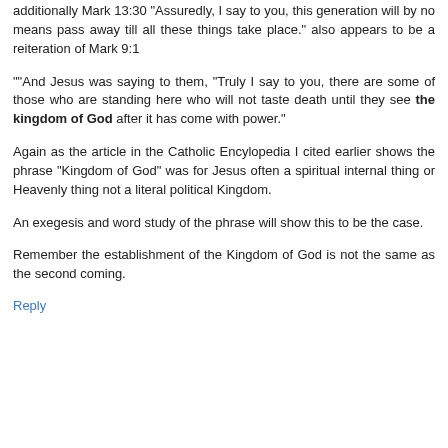additionally Mark 13:30 "Assuredly, I say to you, this generation will by no means pass away till all these things take place." also appears to be a reiteration of Mark 9:1
""And Jesus was saying to them, "Truly I say to you, there are some of those who are standing here who will not taste death until they see the kingdom of God after it has come with power."
Again as the article in the Catholic Encylopedia I cited earlier shows the phrase "Kingdom of God" was for Jesus often a spiritual internal thing or Heavenly thing not a literal political Kingdom.
An exegesis and word study of the phrase will show this to be the case.
Remember the establishment of the Kingdom of God is not the same as the second coming.
Reply